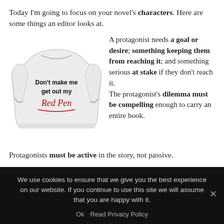Today I'm going to focus on your novel's characters. Here are some things an editor looks at.
[Figure (photo): White sweatshirt with text: Don't make me get out my Red Pen (Red Pen in red cursive)]
A protagonist needs a goal or desire; something keeping them from reaching it; and something serious at stake if they don't reach it. The protagonist's dilemma must be compelling enough to carry an entire book.
Protagonists must be active in the story, not passive.
Protagonists must have both internal and external
We use cookies to ensure that we give you the best experience on our website. If you continue to use this site we will assume that you are happy with it.
Ok   Read Privacy Policy